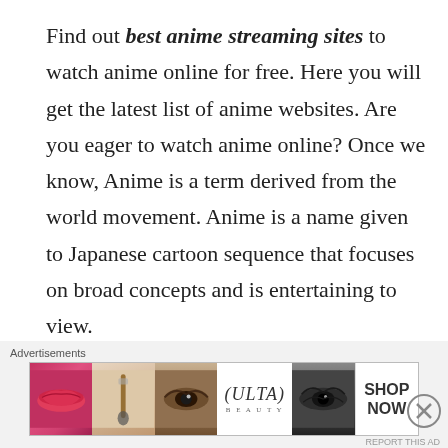Find out best anime streaming sites to watch anime online for free. Here you will get the latest list of anime websites. Are you eager to watch anime online? Once we know, Anime is a term derived from the world movement. Anime is a name given to Japanese cartoon sequence that focuses on broad concepts and is entertaining to view.
We already Posted Top Sites to Watch Movies Online Free and Best Torrent Sites to watch Movies and Series
[Figure (screenshot): Advertisement banner showing ULTA beauty ad with close button overlay and circle X icon]